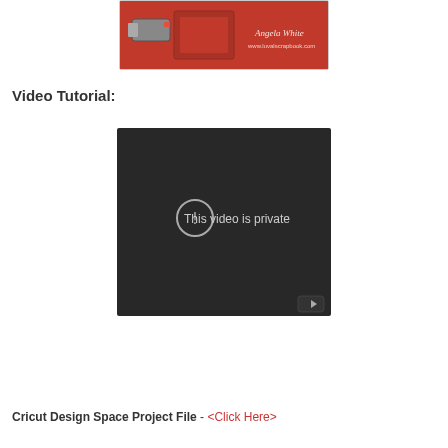[Figure (photo): Partial view of a red craft/scrapbook box with USB drive, branded with Angela White and www.luvalscrapbook.com]
Video Tutorial:
[Figure (screenshot): Embedded YouTube video player showing 'This video is private' error message with exclamation icon and YouTube logo button in lower right corner. Black background.]
Cricut Design Space Project File - <Click Here>